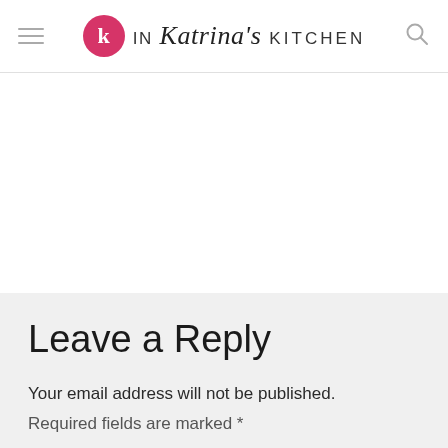IN Katrina's KITCHEN
Leave a Reply
Your email address will not be published.
Required fields are marked *